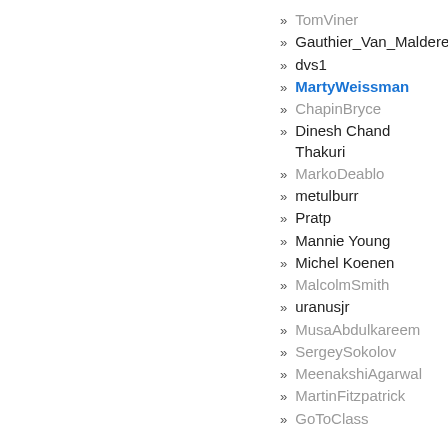TomViner
Gauthier_Van_Malderen
dvs1
MartyWeissman
ChapinBryce
Dinesh Chand Thakuri
MarkoDeablo
metulburr
Pratp
Mannie Young
Michel Koenen
MalcolmSmith
uranusjr
MusaAbdulkareem
SergeySokolov
MeenakshiAgarwal
MartinFitzpatrick
GoToClass